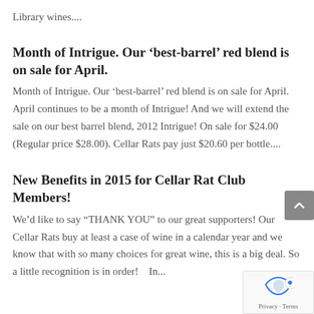Library wines....
Month of Intrigue. Our ‘best-barrel’ red blend is on sale for April.
Month of Intrigue. Our ‘best-barrel’ red blend is on sale for April. April continues to be a month of Intrigue! And we will extend the sale on our best barrel blend, 2012 Intrigue! On sale for $24.00 (Regular price $28.00). Cellar Rats pay just $20.60 per bottle....
New Benefits in 2015 for Cellar Rat Club Members!
We’d like to say “THANK YOU” to our great supporters! Our Cellar Rats buy at least a case of wine in a calendar year and we know that with so many choices for great wine, this is a big deal. So a little recognition is in order!   In...